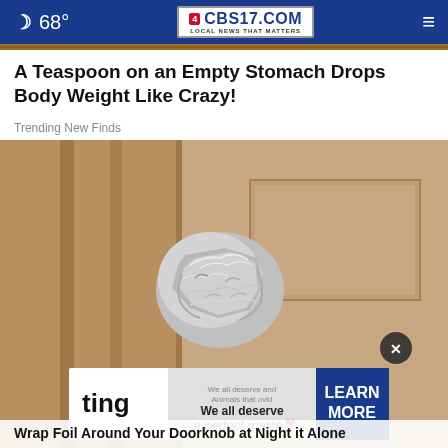68° CBS17.COM LOCAL NEWS THAT MATTERS
A Teaspoon on an Empty Stomach Drops Body Weight Like Crazy!
Trending New Finds
[Figure (photo): A door knob wrapped in crumpled aluminum foil on a wooden door]
Wrap Foil Around Your Doorknob at Night it Alone